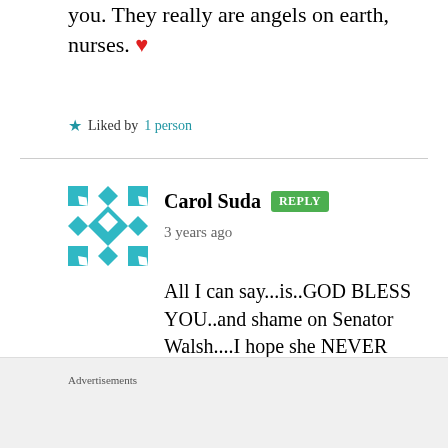you. They really are angels on earth, nurses. ❤
★ Liked by 1 person
Carol Suda REPLY
3 years ago
All I can say...is..GOD BLESS YOU..and shame on Senator Walsh....I hope she NEVER has to deal with this kind of situation...oh..ok..I'll deal the
Advertisements